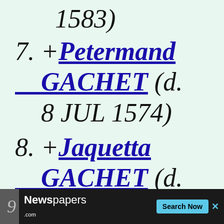1583)
7. +Petermand GACHET (d. 8 JUL 1574)
8. +Jaquetta GACHET (d. 1563)
9.
[Figure (screenshot): Advertisement banner for Newspapers.com with Search Now button]